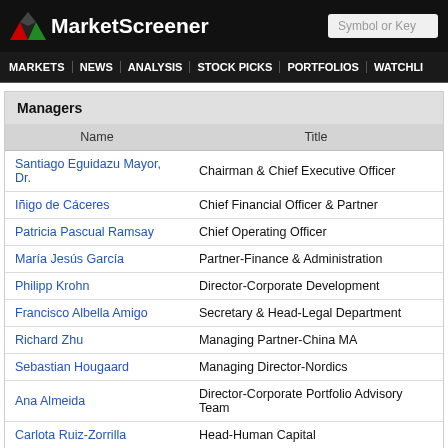MarketScreener
Managers
| Name | Title |
| --- | --- |
| Santiago Eguidazu Mayor, Dr. | Chairman & Chief Executive Officer |
| Iñigo de Cáceres | Chief Financial Officer & Partner |
| Patricia Pascual Ramsay | Chief Operating Officer |
| María Jesús García | Partner-Finance & Administration |
| Philipp Krohn | Director-Corporate Development |
| Francisco Albella Amigo | Secretary & Head-Legal Department |
| Richard Zhu | Managing Partner-China MA |
| Sebastian Hougaard | Managing Director-Nordics |
| Ana Almeida | Director-Corporate Portfolio Advisory Team |
| Carlota Ruiz-Zorrilla | Head-Human Capital |
Members of the board
| Name | Title |
| --- | --- |